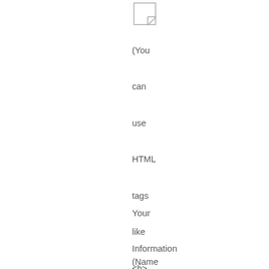[Figure (other): Small document/image icon box with diagonal line in corner]
(You can use HTML tags like <b> <i> and <ul> to style your text.)
Your Information
(Name and email address